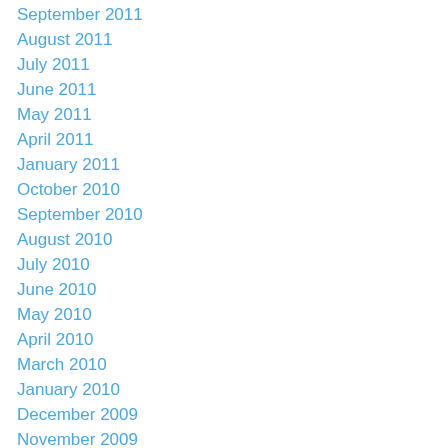September 2011
August 2011
July 2011
June 2011
May 2011
April 2011
January 2011
October 2010
September 2010
August 2010
July 2010
June 2010
May 2010
April 2010
March 2010
January 2010
December 2009
November 2009
October 2009
September 2009